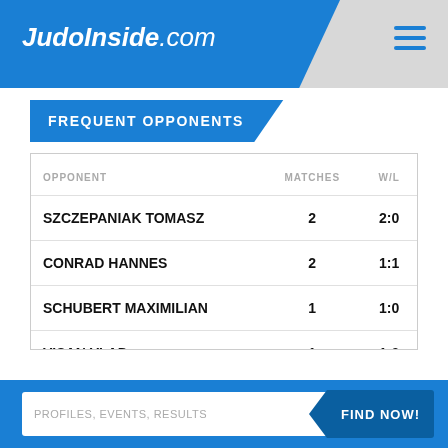JudoInside.com
FREQUENT OPPONENTS
| OPPONENT | MATCHES | W/L |
| --- | --- | --- |
| SZCZEPANIAK TOMASZ | 2 | 2:0 |
| CONRAD HANNES | 2 | 1:1 |
| SCHUBERT MAXIMILIAN | 1 | 1:0 |
| VISAN VLAD | 1 | 1:0 |
| DEL REY LUIS | 1 | 1:0 |
PROFILES, EVENTS, RESULTS   FIND NOW!